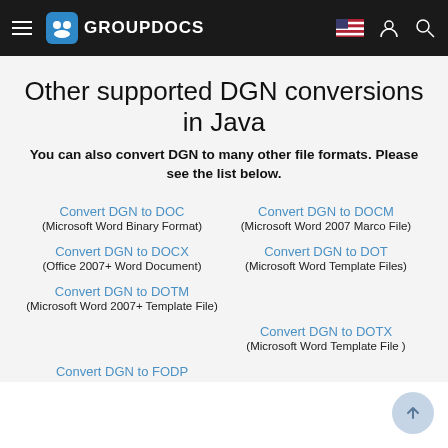GROUPDOCS
Other supported DGN conversions in Java
You can also convert DGN to many other file formats. Please see the list below.
Convert DGN to DOC
(Microsoft Word Binary Format)
Convert DGN to DOCM
(Microsoft Word 2007 Marco File)
Convert DGN to DOCX
(Office 2007+ Word Document)
Convert DGN to DOT
(Microsoft Word Template Files)
Convert DGN to DOTM
(Microsoft Word 2007+ Template File)
Convert DGN to DOTX
(Microsoft Word Template File )
Convert DGN to FODP